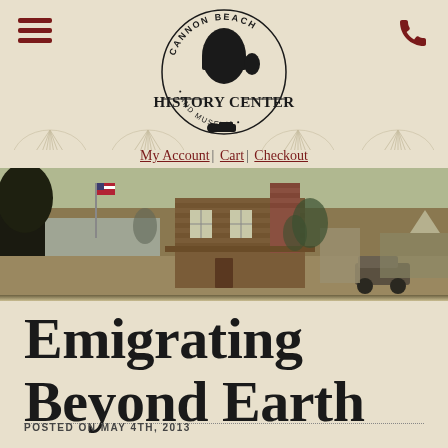[Figure (logo): Cannon Beach History Center and Museum circular logo with mountain/haystack rock illustration, decorative rope border, and text reading CANNON BEACH / HISTORY CENTER / AND MUSEUM]
My Account | Cart | Checkout
[Figure (photo): Historic sepia/colorized panoramic photograph of an early 20th century building (log cabin style) in Cannon Beach, with a large chimney, American flag, trees, and early automobiles visible]
Emigrating Beyond Earth
POSTED ON MAY 4TH, 2013